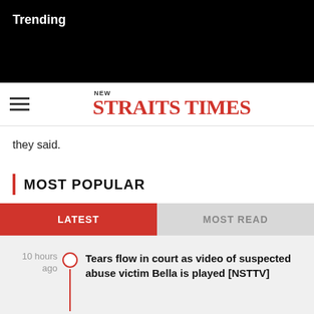Trending
[Figure (logo): New Straits Times logo with hamburger menu icon]
they said.
MOST POPULAR
10 hours ago — Tears flow in court as video of suspected abuse victim Bella is played [NSTTV]
11 hours ago — High Court rejects Rosmah's application to dismiss lead prosecutor